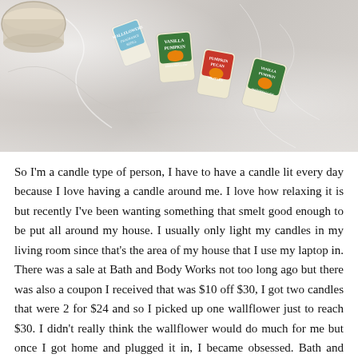[Figure (photo): Photo showing multiple Bath and Body Works wallflower refill pods with colorful labels including Vanilla Pumpkin, Pumpkin Pecan Waffles, and Vanilla Pumpkin Marshmallow scents, arranged on a white marble surface. A candle jar is partially visible in the top left corner.]
So I'm a candle type of person, I have to have a candle lit every day because I love having a candle around me. I love how relaxing it is but recently I've been wanting something that smelt good enough to be put all around my house. I usually only light my candles in my living room since that's the area of my house that I use my laptop in. There was a sale at Bath and Body Works not too long ago but there was also a coupon I received that was $10 off $30, I got two candles that were 2 for $24 and so I picked up one wallflower just to reach $30. I didn't really think the wallflower would do much for me but once I got home and plugged it in, I became obsessed. Bath and Body Works always has such amazing deals so when I found out that each wallflower was only $3.50 I went to the store to pick up a few.